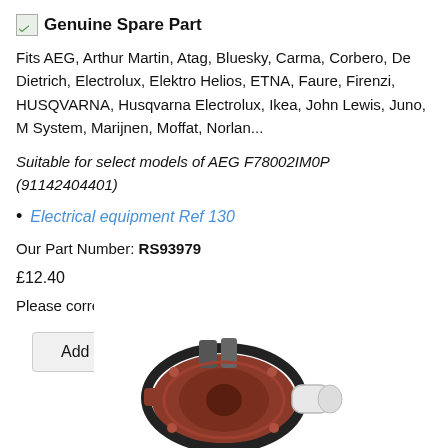Genuine Spare Part
Fits AEG, Arthur Martin, Atag, Bluesky, Carma, Corbero, De Dietrich, Electrolux, Elektro Helios, ETNA, Faure, Firenzi, HUSQVARNA, Husqvarna Electrolux, Ikea, John Lewis, Juno, M System, Marijnen, Moffat, Norlan...
Suitable for select models of AEG F78002IM0P (91142404401)
Electrical equipment Ref 130
Our Part Number: RS93979
£12.40
Please correct the errors and try again.
[Figure (photo): Product photo of a dishwasher pump/motor assembly with a brown/red plastic body and black circular seal]